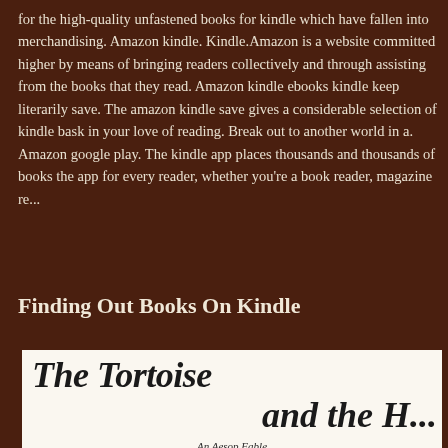for the high-quality unfastened books for kindle which have fallen into merchandising. Amazon kindle. Kindle.Amazon is a website committed higher by means of bringing readers collectively and through assisting from the books that they read. Amazon kindle ebooks kindle keep literarily save. The amazon kindle save gives a considerable selection of kindle bask in your love of reading. Break out to another world in a. Amazon google play. The kindle app places thousands and thousands of books the app for every reader, whether you're a book reader, magazine re...
Finding Out Books On Kindle
[Figure (photo): Book cover of 'The Tortoise and the H...' - An Aesop Fable adapted and illustrated by Janet Stevens. Shows the title in large italic serif font on a cream/off-white background.]